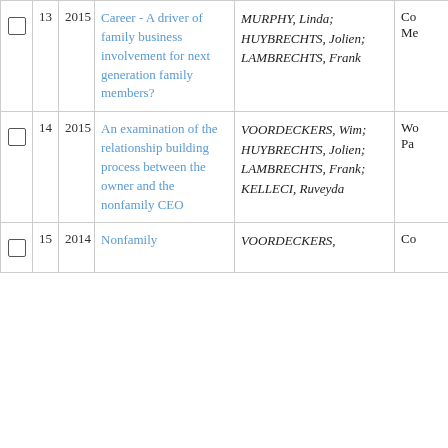|  | # | Year | Title | Authors | Venue |
| --- | --- | --- | --- | --- | --- |
| ☐ | 13 | 2015 | Career - A driver of family business involvement for next generation family members? | MURPHY, Linda; HUYBRECHTS, Jolien; LAMBRECHTS, Frank | Co Me... |
| ☐ | 14 | 2015 | An examination of the relationship building process between the owner and the nonfamily CEO | VOORDECKERS, Wim; HUYBRECHTS, Jolien; LAMBRECHTS, Frank; KELLECI, Ruveyda | Wo Pa... |
| ☐ | 15 | 2014 | Nonfamily | VOORDECKERS, | Co... |